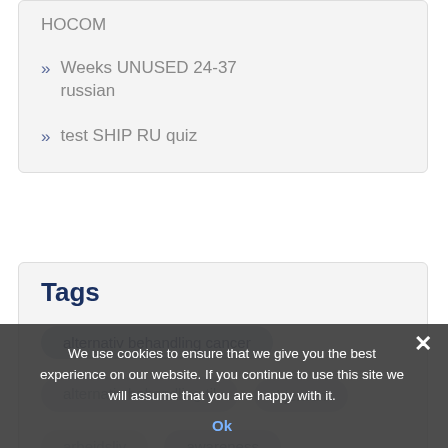HOCOM
Weeks UNUSED 24-37 russian
test SHIP RU quiz
Tags
alternativ behandling cancer
alternativ behandling til hjernen
arbeidsliv
awareness
We use cookies to ensure that we give you the best experience on our website. If you continue to use this site we will assume that you are happy with it.
Ok